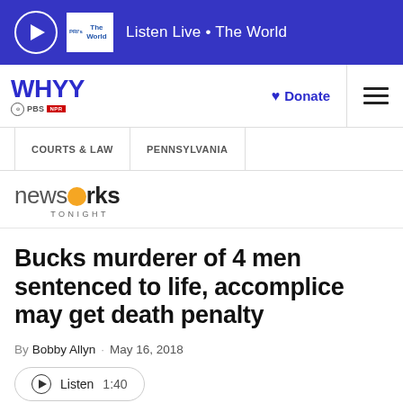Listen Live • The World
[Figure (logo): WHYY PBS NPR logo with Donate button and hamburger menu]
COURTS & LAW | PENNSYLVANIA
[Figure (logo): NewsWorks Tonight logo]
Bucks murderer of 4 men sentenced to life, accomplice may get death penalty
By Bobby Allyn · May 16, 2018
Listen 1:40